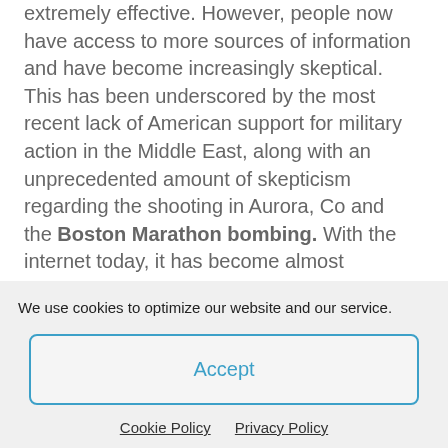extremely effective. However, people now have access to more sources of information and have become increasingly skeptical. This has been underscored by the most recent lack of American support for military action in the Middle East, along with an unprecedented amount of skepticism regarding the shooting in Aurora, Co and the Boston Marathon bombing. With the internet today, it has become almost impossible to prove or disprove any specific event unless it is experienced first-hand. All it takes is some well-crafted disinformation to discredit and make the masses second guess what actually happened, or if an event even
We use cookies to optimize our website and our service.
Accept
Cookie Policy   Privacy Policy